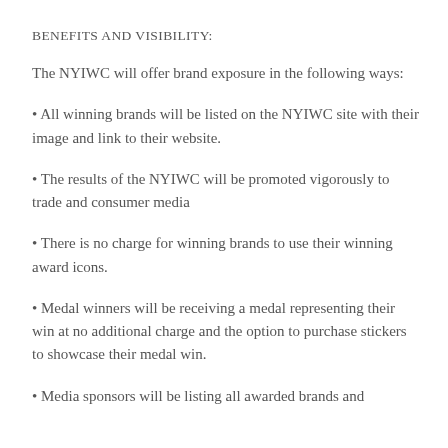BENEFITS AND VISIBILITY:
The NYIWC will offer brand exposure in the following ways:
• All winning brands will be listed on the NYIWC site with their image and link to their website.
• The results of the NYIWC will be promoted vigorously to trade and consumer media
• There is no charge for winning brands to use their winning award icons.
• Medal winners will be receiving a medal representing their win at no additional charge and the option to purchase stickers to showcase their medal win.
• Media sponsors will be listing all awarded brands and